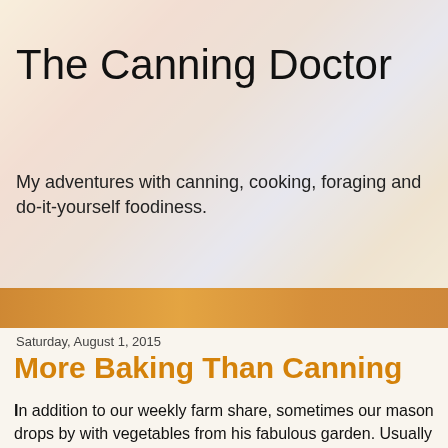The Canning Doctor
My adventures with canning, cooking, foraging and do-it-yourself foodiness.
Saturday, August 1, 2015
More Baking Than Canning
In addition to our weekly farm share, sometimes our mason drops by with vegetables from his fabulous garden. Usually zucchini is one of the things he brings (along with celery, green beans, basil, tomatoes, peppers and sometimes eggplant - it's really quite wonderful) and they're generally the very big ones. Each one makes about 3 cups of shredded zucchini, which means they are perfect for chocolate zucchini bread. Since I had 2, the other day I made a double batch - 4 loaves. Do you know why this recipe is so great? Because the 10 year old asks me to make it. Knowing full well there is zucchini in it.